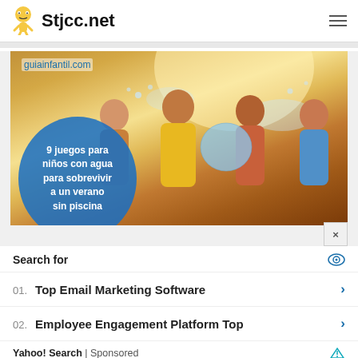Stjcc.net
[Figure (illustration): Advertisement banner from guiainfantil.com showing children playing with water balloons outdoors with a blue oval overlay text reading '9 juegos para niños con agua para sobrevivir a un verano sin piscina']
Search for
01. Top Email Marketing Software
02. Employee Engagement Platform Top
Yahoo! Search | Sponsored